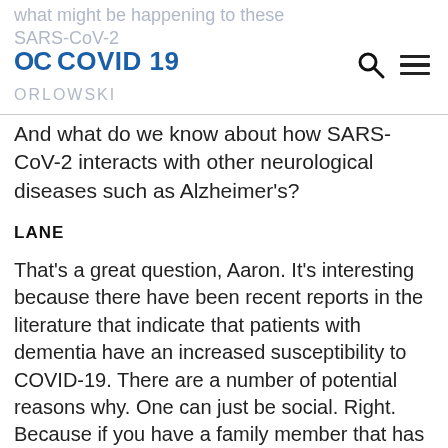what might be happening to these SARS-CoV-2 ORLOWSKI
And what do we know about how SARS-CoV-2 interacts with other neurological diseases such as Alzheimer's?
LANE
That's a great question, Aaron. It's interesting because there have been recent reports in the literature that indicate that patients with dementia have an increased susceptibility to COVID-19. There are a number of potential reasons why. One can just be social. Right. Because if you have a family member that has dementia or is in a memory care facility, having those